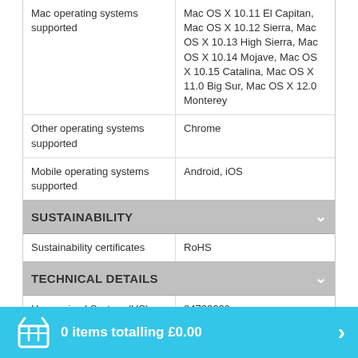| Attribute | Value |
| --- | --- |
| Mac operating systems supported | Mac OS X 10.11 El Capitan, Mac OS X 10.12 Sierra, Mac OS X 10.13 High Sierra, Mac OS X 10.14 Mojave, Mac OS X 10.15 Catalina, Mac OS X 11.0 Big Sur, Mac OS X 12.0 Monterey |
| Other operating systems supported | Chrome |
| Mobile operating systems supported | Android, iOS |
SUSTAINABILITY
| Attribute | Value |
| --- | --- |
| Sustainability certificates | RoHS |
TECHNICAL DETAILS
| Attribute | Value |
| --- | --- |
| Harmonized System (HS) code | 84733020 |
WEIGHT & DIMENSIONS
| Attribute | Value |
| --- | --- |
| Weight | 125 g |
| Height | 15 mm |
| Width | 61 mm |
| Depth | 460 mm |
0 items totalling £0.00